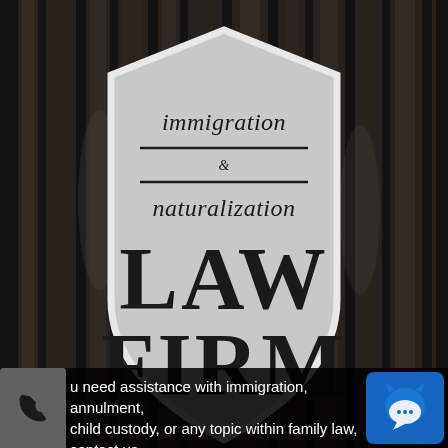[Figure (logo): Immigration & Naturalization Law Firm shield logo on dark blurred background with vertical bar-like shapes]
u need assistance with immigration, annulment, child custody, or any topic within family law, contact us